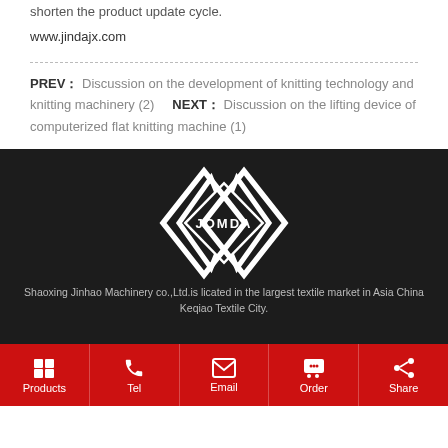shorten the product update cycle.
www.jindajx.com
PREV : Discussion on the development of knitting technology and knitting machinery (2)   NEXT : Discussion on the lifting device of computerized flat knitting machine (1)
[Figure (logo): JOMDA logo — white geometric diamond/arrow shape on dark background]
Shaoxing Jinhao Machinery co.,Ltd.is licated in the largest textile market in Asia China Keqiao Textile City.
Products   Tel   Email   Order   Share